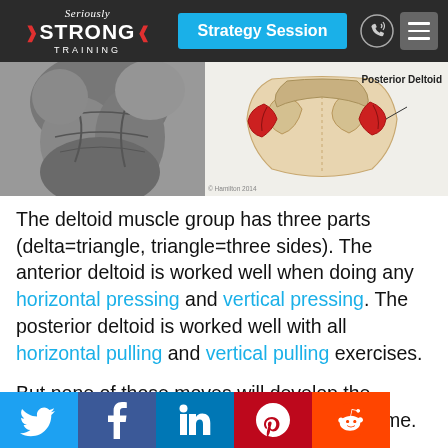[Figure (screenshot): Website header for Seriously Strong Training with logo, Strategy Session button, phone icon, and menu icon]
[Figure (photo): Two images: left shows a black and white photo of muscular torso/deltoid area; right shows an anatomical diagram of the posterior deltoid muscle highlighted in red]
The deltoid muscle group has three parts (delta=triangle, triangle=three sides). The anterior deltoid is worked well when doing any horizontal pressing and vertical pressing. The posterior deltoid is worked well with all horizontal pulling and vertical pulling exercises.
But none of those moves will develop the medial delt to its potential, and that's a shame. Because the medial delt is the ultimate responsible for
[Figure (infographic): Social sharing bar showing Twitter, Facebook, LinkedIn, Pinterest, and Reddit icons]